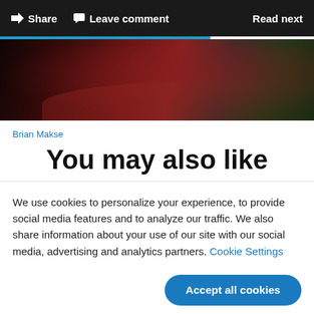Share   Leave comment   Read next
[Figure (photo): Close-up photo of a dark red car roof/body panel with blurred green foliage in background]
Brian Makse
You may also like
We use cookies to personalize your experience, to provide social media features and to analyze our traffic. We also share information about your use of our site with our social media, advertising and analytics partners. Cookie Settings
Accept all cookies